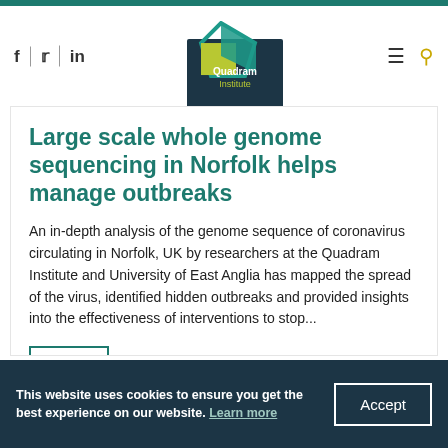[Figure (logo): Quadram Institute logo with teal diamond shape and yellow-green square, dark background with white text 'Quadram Institute']
Large scale whole genome sequencing in Norfolk helps manage outbreaks
An in-depth analysis of the genome sequence of coronavirus circulating in Norfolk, UK by researchers at the Quadram Institute and University of East Anglia has mapped the spread of the virus, identified hidden outbreaks and provided insights into the effectiveness of interventions to stop...
View
This website uses cookies to ensure you get the best experience on our website. Learn more